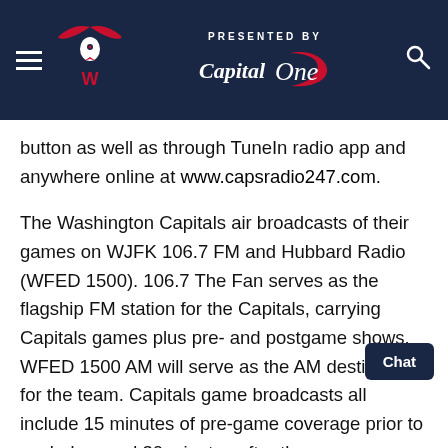PRESENTED BY Capital One — Washington Capitals navigation header
button as well as through TuneIn radio app and anywhere online at www.capsradio247.com.
The Washington Capitals air broadcasts of their games on WJFK 106.7 FM and Hubbard Radio (WFED 1500). 106.7 The Fan serves as the flagship FM station for the Capitals, carrying Capitals games plus pre- and postgame shows. WFED 1500 AM will serve as the AM destination for the team. Capitals game broadcasts all include 15 minutes of pre-game coverage prior to puck drop and 30 minutes after the game concludes.
Extended pregame coverage can be heard before every Capitals broadcast with Caps GameDay beginning at 4:00 p.m. ET exclusively on Caps Radio 24/7. Hosted by Ron Raby, the show features the latest lineup news plus